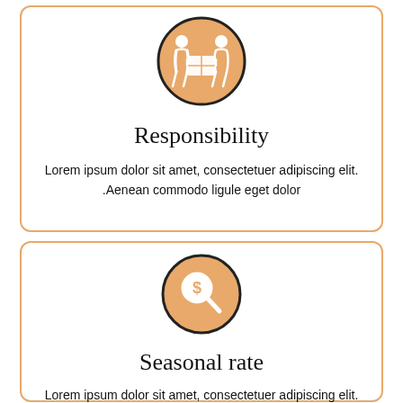[Figure (illustration): Orange circle icon with two white silhouette figures carrying a box between them]
Responsibility
Lorem ipsum dolor sit amet, consectetuer adipiscing elit. .Aenean commodo ligule eget dolor
[Figure (illustration): Orange circle icon with a white magnifying glass containing a dollar sign]
Seasonal rate
Lorem ipsum dolor sit amet, consectetuer adipiscing elit.